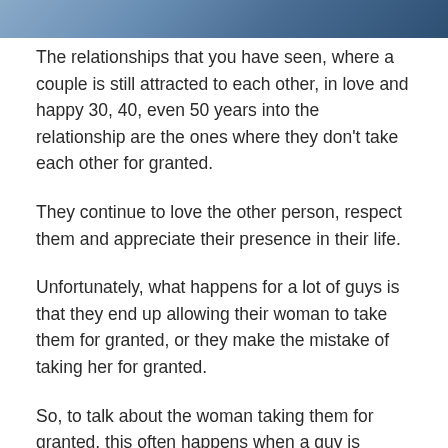[Figure (photo): Cropped photo of a couple, visible from approximately waist to shoulder level, one person wearing a light blue shirt.]
The relationships that you have seen, where a couple is still attracted to each other, in love and happy 30, 40, even 50 years into the relationship are the ones where they don’t take each other for granted.
They continue to love the other person, respect them and appreciate their presence in their life.
Unfortunately, what happens for a lot of guys is that they end up allowing their woman to take them for granted, or they make the mistake of taking her for granted.
So, to talk about the woman taking them for granted, this often happens when a guy is putting in more effort into the relationship than the woman is.
He’s trying hard to impress her and live up to her standards and she doesn’t feel the same motivation